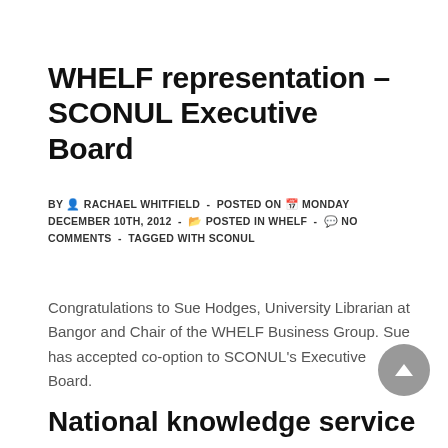WHELF representation – SCONUL Executive Board
BY RACHAEL WHITFIELD - POSTED ON MONDAY DECEMBER 10TH, 2012 - POSTED IN WHELF - NO COMMENTS - TAGGED WITH SCONUL
Congratulations to Sue Hodges, University Librarian at Bangor and Chair of the WHELF Business Group. Sue has accepted co-option to SCONUL's Executive Board.
National knowledge service